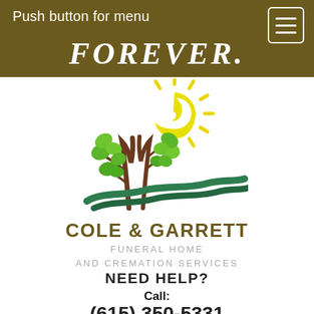Push button for menu
FOREVER.
[Figure (logo): Cole & Garrett Funeral Home logo: two trees with green leaves, rolling green hills, and a yellow spiral sun with rays]
COLE & GARRETT
FUNERAL HOME
AND CREMATION SERVICES
NEED HELP?
Call:
(615) 350-5331